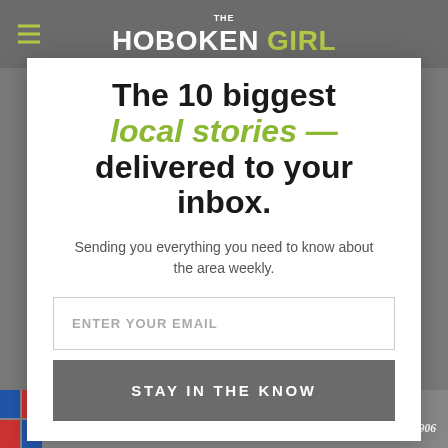THE HOBOKEN GIRL
The 10 biggest local stories — delivered to your inbox.
Sending you everything you need to know about the area weekly.
ENTER YOUR EMAIL
STAY IN THE KNOW
Saving You Money Since 1906